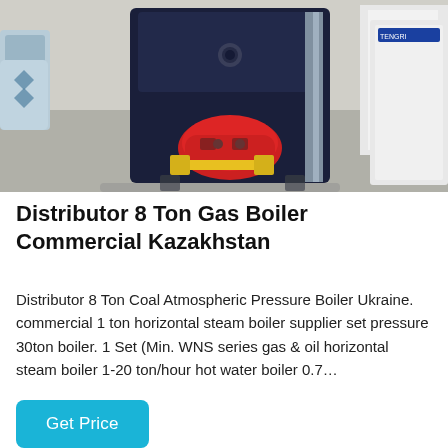[Figure (photo): Industrial gas boiler (dark blue/navy vertical unit) with a red burner attachment in the front, yellow gas pipe connector, sitting on a concrete warehouse floor. Additional equipment and white panels visible in background.]
Distributor 8 Ton Gas Boiler Commercial Kazakhstan
Distributor 8 Ton Coal Atmospheric Pressure Boiler Ukraine. commercial 1 ton horizontal steam boiler supplier set pressure 30ton boiler. 1 Set (Min. WNS series gas & oil horizontal steam boiler 1-20 ton/hour hot water boiler 0.7…
Get Price